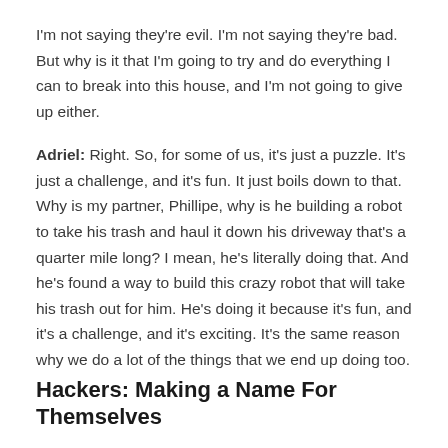I'm not saying they're evil. I'm not saying they're bad. But why is it that I'm going to try and do everything I can to break into this house, and I'm not going to give up either.
Adriel: Right. So, for some of us, it's just a puzzle. It's just a challenge, and it's fun. It just boils down to that. Why is my partner, Phillipe, why is he building a robot to take his trash and haul it down his driveway that's a quarter mile long? I mean, he's literally doing that. And he's found a way to build this crazy robot that will take his trash out for him. He's doing it because it's fun, and it's a challenge, and it's exciting. It's the same reason why we do a lot of the things that we end up doing too.
Hackers: Making a Name For Themselves